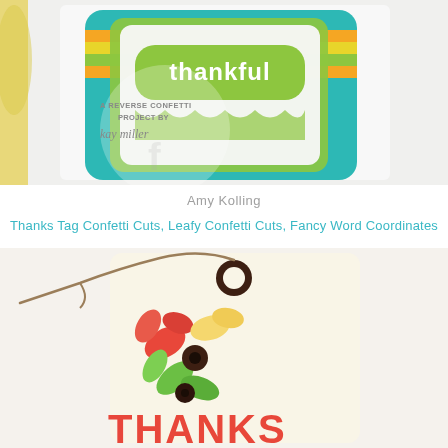[Figure (photo): Colorful layered card with 'thankful' text in green on striped teal/rainbow background. Watermark overlay reads 'A Reverse Confetti Project by kay miller'.]
Amy Kolling
Thanks Tag Confetti Cuts, Leafy Confetti Cuts, Fancy Word Coordinates
[Figure (photo): Craft tag with colorful die-cut leafy flowers in red, yellow, and green, dark circular eyelet at top with twine, 'THANKS' text in red at bottom.]